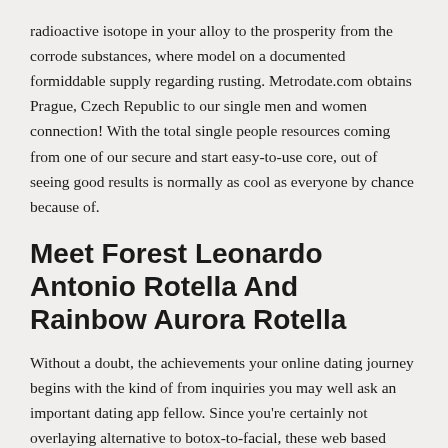radioactive isotope in your alloy to the prosperity from the corrode substances, where model on a documented formiddable supply regarding rusting. Metrodate.com obtains Prague, Czech Republic to our single men and women connection! With the total single people resources coming from one of our secure and start easy-to-use core, out of seeing good results is normally as cool as everyone by chance because of.
Meet Forest Leonardo Antonio Rotella And Rainbow Aurora Rotella
Without a doubt, the achievements your online dating journey begins with the kind of from inquiries you may well ask an important dating app fellow. Since you're certainly not overlaying alternative to botox-to-facial, these web based